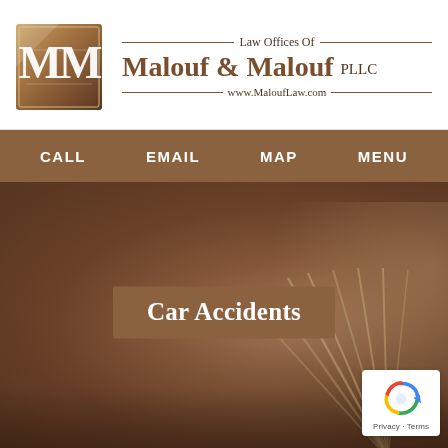[Figure (logo): MM monogram logo in a brown/gold square with decorative border]
Law Offices Of Malouf & Malouf PLLC www.MaloufLaw.com
CALL   EMAIL   MAP   MENU
[Figure (photo): Brown/mocha toned hero background image with soft bokeh light]
Car Accidents